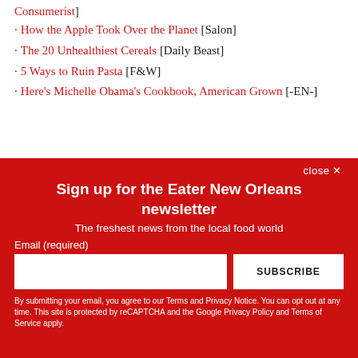Consumerist]
· How the Apple Took Over the Planet [Salon]
· The 20 Unhealthiest Cereals [Daily Beast]
· 5 Ways to Ruin Pasta [F&W]
· Here's Michelle Obama's Cookbook, American Grown [-EN-]
Sign up for the Eater New Orleans newsletter
The freshest news from the local food world
Email (required)
SUBSCRIBE
By submitting your email, you agree to our Terms and Privacy Notice. You can opt out at any time. This site is protected by reCAPTCHA and the Google Privacy Policy and Terms of Service apply.